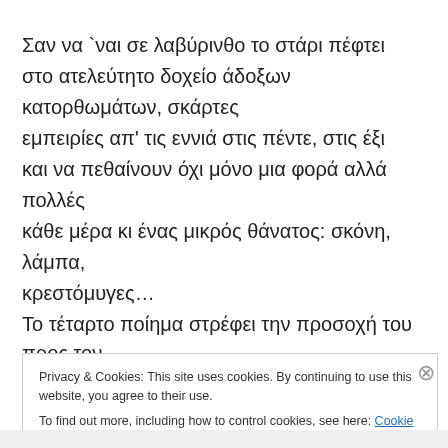Σαν να `ναι σε λαβύρινθο το στάρι πέφτει στο ατελεύτητο δοχείο άδοξων κατορθωμάτων, σκάρτες εμπειρίες απ' τις εννιά στις πέντε, στις έξι και να πεθαίνουν όχι μόνο μια φορά αλλά πολλές κάθε μέρα κι ένας μικρός θάνατος: σκόνη, λάμπα, κρεστόμυγες…
Το τέταρτο ποίημα στρέφει την προσοχή του προς τον
Privacy & Cookies: This site uses cookies. By continuing to use this website, you agree to their use.
To find out more, including how to control cookies, see here: Cookie Policy